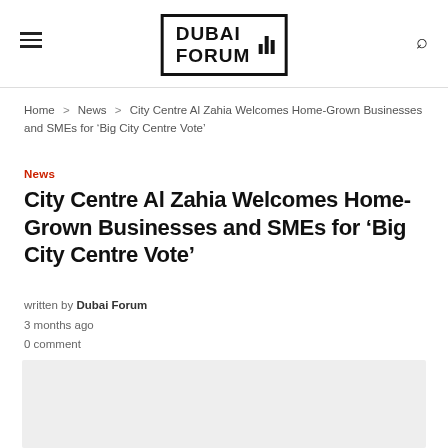Dubai Forum
Home > News > City Centre Al Zahia Welcomes Home-Grown Businesses and SMEs for 'Big City Centre Vote'
News
City Centre Al Zahia Welcomes Home-Grown Businesses and SMEs for 'Big City Centre Vote'
written by Dubai Forum
3 months ago
0 comment
[Figure (photo): Article image placeholder (light gray background)]